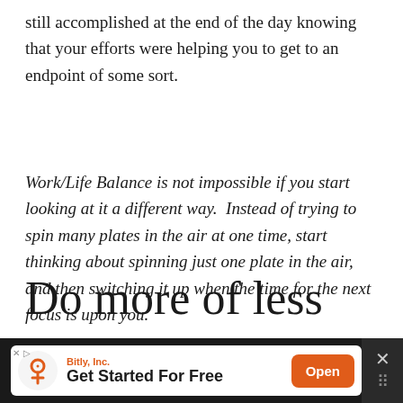still accomplished at the end of the day knowing that your efforts were helping you to get to an endpoint of some sort.
Work/Life Balance is not impossible if you start looking at it a different way.  Instead of trying to spin many plates in the air at one time, start thinking about spinning just one plate in the air, and then switching it up when the time for the next focus is upon you.
Do more of less
[Figure (other): Advertisement banner for Bitly, Inc. with logo, tagline 'Get Started For Free', and orange Open button]